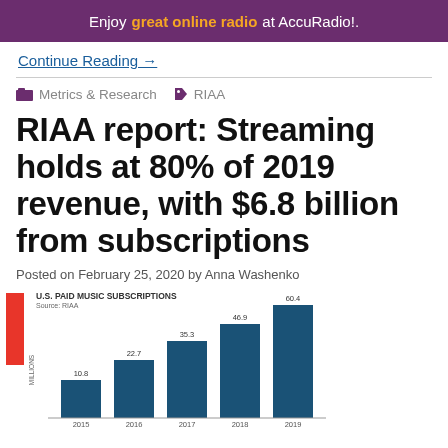Enjoy great online radio at AccuRadio!.
Continue Reading →
Metrics & Research   RIAA
RIAA report: Streaming holds at 80% of 2019 revenue, with $6.8 billion from subscriptions
Posted on February 25, 2020 by Anna Washenko
[Figure (bar-chart): U.S. PAID MUSIC SUBSCRIPTIONS]